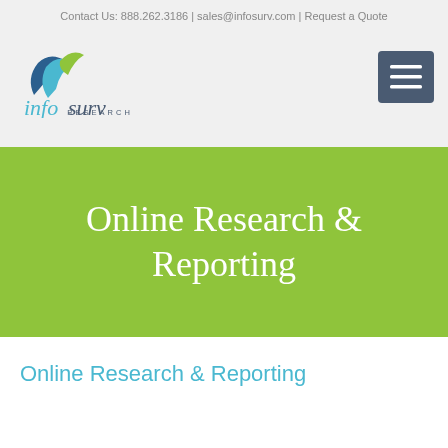Contact Us: 888.262.3186 | sales@infosurv.com | Request a Quote
[Figure (logo): Infosurv Research logo with blue/green leaf icon and stylized 'infosurv RESEARCH' text]
[Figure (other): Hamburger menu button (3 horizontal white lines on dark blue-gray square)]
Online Research & Reporting
Online Research & Reporting